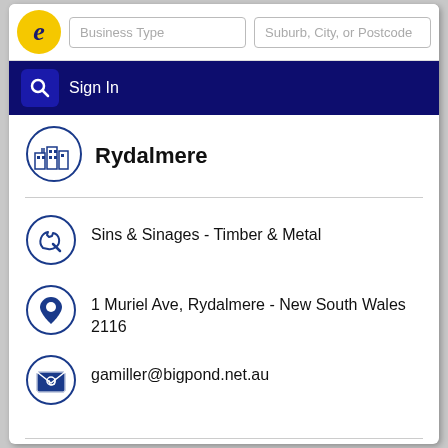Business Type | Suburb, City, or Postcode | Sign In
Rydalmere
Sins & Sinages - Timber & Metal
1 Muriel Ave, Rydalmere - New South Wales 2116
gamiller@bigpond.net.au
↳ More results nearby or related categories
Timber & Metal Signs Rydalmere NSW